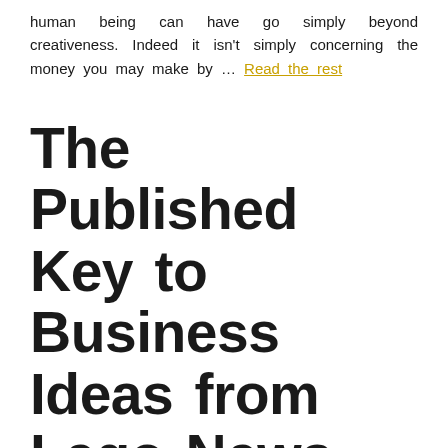human being can have go simply beyond creativeness. Indeed it isn't simply concerning the money you may make by … Read the rest
The Published Key to Business Ideas from Lego News Found
Posted on May 12, 2022 by Aegon Lee